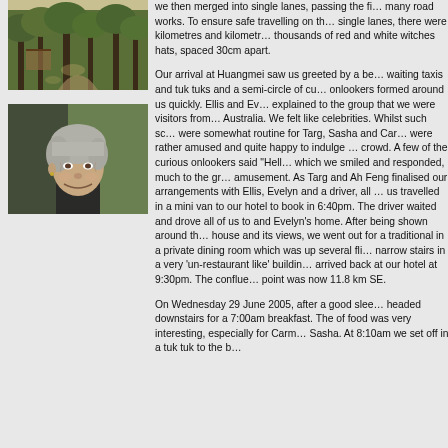[Figure (photo): Photo of a forest path with trees and a wooden structure]
[Figure (photo): Photo of an elderly woman with gray hair smiling]
we then merged into single lanes, passing the fi… many road works. To ensure safe travelling on th… single lanes, there were kilometres and kilometr… thousands of red and white witches hats, space… 30cm apart.

Our arrival at Huangmei saw us greeted by a be… waiting taxis and tuk tuks and a semi-circle of cu… onlookers formed around us quickly. Ellis and Ev… explained to the group that we were visitors from… Australia. We felt like celebrities. Whilst such sc… were somewhat routine for Targ, Sasha and Car… were rather amused and quite happy to indulge … crowd. A few of the curious onlookers said "Hell… which we smiled and responded, much to the gr… amusement. As Targ and Ah Feng finalised our arrangements with Ellis, Evelyn and a driver, all … us travelled in a mini van to our hotel to book in 6:40pm. The driver waited and drove all of us to and Evelyn's home. After being shown around th… house and its views, we went out for a traditional in a private dining room which was up several fli… narrow stairs in a very 'un-restaurant like' buildin… arrived back at our hotel at 9:30pm. The conflue… point was now 11.8 km SE.

On Wednesday 29 June 2005, after a good slee… headed downstairs for a 7:00am breakfast. The of food was very interesting, especially for Carm… Sasha. At 8:10am we set off in a tuk tuk to the b…